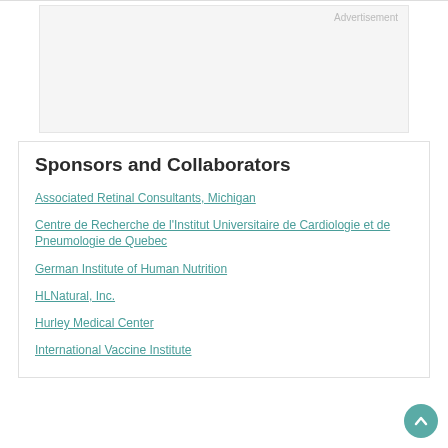[Figure (other): Advertisement placeholder box with light gray background and 'Advertisement' label in top right corner]
Sponsors and Collaborators
Associated Retinal Consultants, Michigan
Centre de Recherche de l'Institut Universitaire de Cardiologie et de Pneumologie de Quebec
German Institute of Human Nutrition
HLNatural, Inc.
Hurley Medical Center
International Vaccine Institute